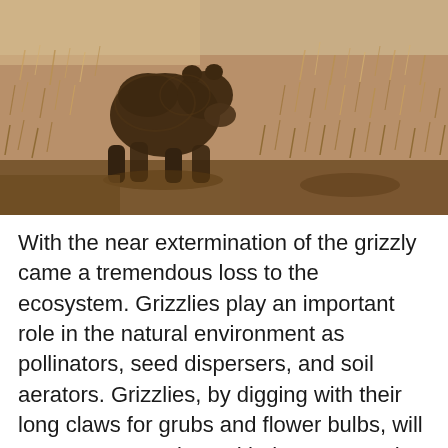[Figure (photo): A grizzly bear walking through dry grassland/prairie, photographed from behind and to the side, showing its dark brown fur. The landscape is covered with dry, golden-brown grass.]
With the near extermination of the grizzly came a tremendous loss to the ecosystem. Grizzlies play an important role in the natural environment as pollinators, seed dispersers, and soil aerators. Grizzlies, by digging with their long claws for grubs and flower bulbs, will upturn many rocks and help to aerate the soil. Through this aeration process, the soil becomes